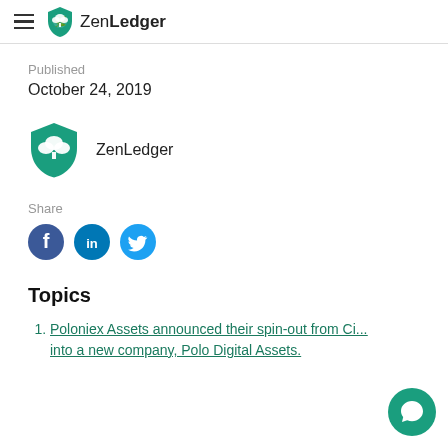ZenLedger
Published
October 24, 2019
[Figure (logo): ZenLedger shield logo with tree graphic and text 'ZenLedger']
Share
[Figure (infographic): Social share icons: Facebook, LinkedIn, Twitter]
Topics
Poloniex Assets announced their spin-out from Ci... into a new company, Polo Digital Assets.